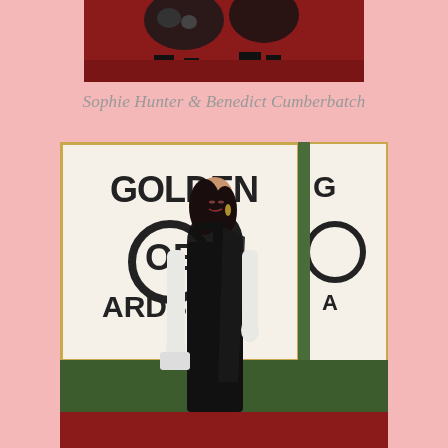[Figure (photo): Partial photo at top of page showing figures on a red carpet, cropped — only lower portion visible]
Sophie Hunter & Benedict Cumberbatch
[Figure (photo): Woman in a black one-shoulder gown with long white gloves standing at the Golden Globe Awards red carpet backdrop]